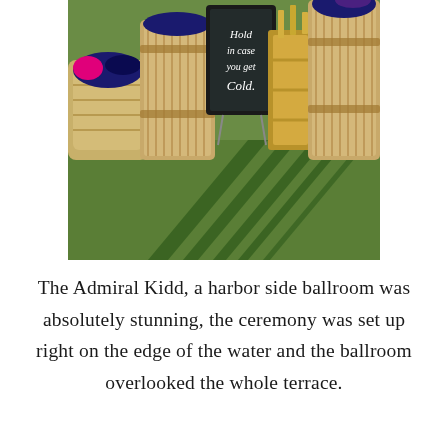[Figure (photo): Outdoor wedding ceremony setup on green grass. Wooden barrel-style buckets and wicker baskets filled with dark blue and pink fabric/wraps. A chalkboard sign reads 'Hold in case you get Cold.' Gold metallic crate or stand in the center. Shadows of fence posts stripe the grass in afternoon sun.]
The Admiral Kidd, a harbor side ballroom was absolutely stunning, the ceremony was set up right on the edge of the water and the ballroom overlooked the whole terrace.